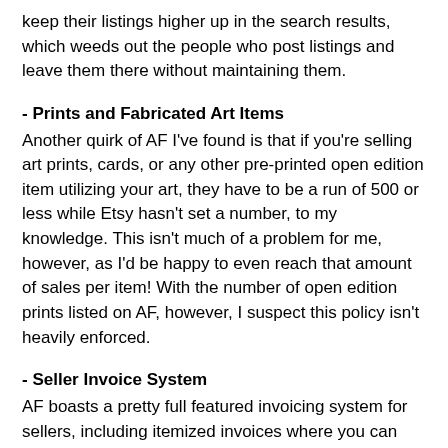keep their listings higher up in the search results, which weeds out the people who post listings and leave them there without maintaining them.
- Prints and Fabricated Art Items
Another quirk of AF I've found is that if you're selling art prints, cards, or any other pre-printed open edition item utilizing your art, they have to be a run of 500 or less while Etsy hasn't set a number, to my knowledge. This isn't much of a problem for me, however, as I'd be happy to even reach that amount of sales per item!  With the number of open edition prints listed on AF, however, I suspect this policy isn't heavily enforced.
- Seller Invoice System
AF boasts a pretty full featured invoicing system for sellers, including itemized invoices where you can check off each stage of payment, packing, and shipping as it happens with a field to enter an item's tracking number. This number is automatically emailed to your customer when you enter it, making these invoices pretty handy for taking care of your customer all in one place!